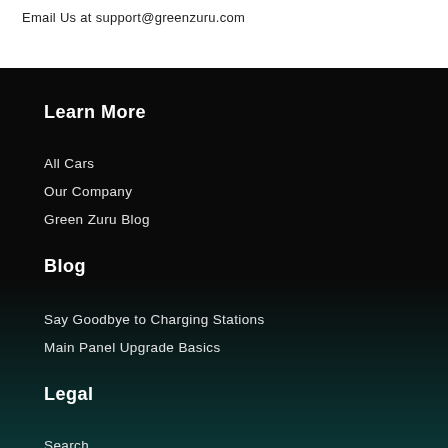Email Us at support@greenzuru.com
Learn More
All Cars
Our Company
Green Zuru Blog
Blog
Say Goodbye to Charging Stations
Main Panel Upgrade Basics
Legal
Search
Privacy Policy